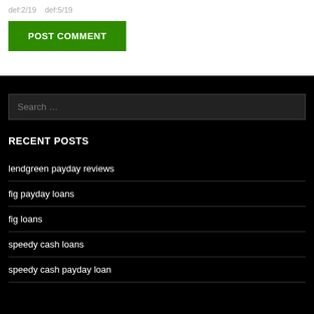def:2/19    def:5/19
POST COMMENT
Search …
RECENT POSTS
lendgreen payday reviews
fig payday loans
fig loans
speedy cash loans
speedy cash payday loan